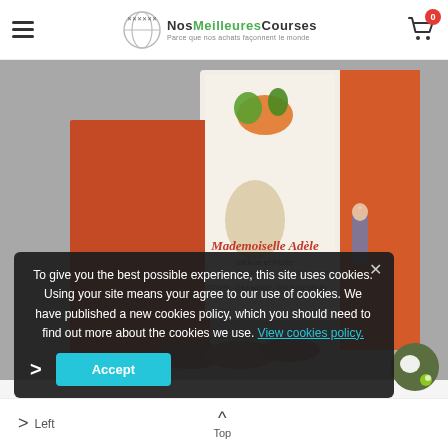Nos Meilleures Courses
[Figure (photo): Product photo of coffee capsule box labeled 'Mademoiselle Adèle - Délicat et Fruité, Arabica Bio Grands Crus - Brésil et Mexique, 100% Bio-Dégradable - 0% d'aluminium' on a grey background with coffee pods spilling out]
To give you the best possible experience, this site uses cookies. Using your site means your agree to our use of cookies. We have published a new cookies policy, which you should need to find out more about the cookies we use. View cookies policy.
Left  Top